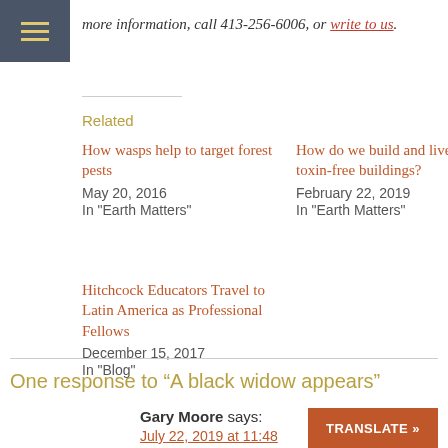more information, call 413-256-6006, or write to us.
Related
How wasps help to target forest pests
May 20, 2016
In "Earth Matters"
How do we build and live in toxin-free buildings?
February 22, 2019
In "Earth Matters"
Hitchcock Educators Travel to Latin America as Professional Fellows
December 15, 2017
In "Blog"
One response to “A black widow appears”
Gary Moore says:
July 22, 2019 at 11:48